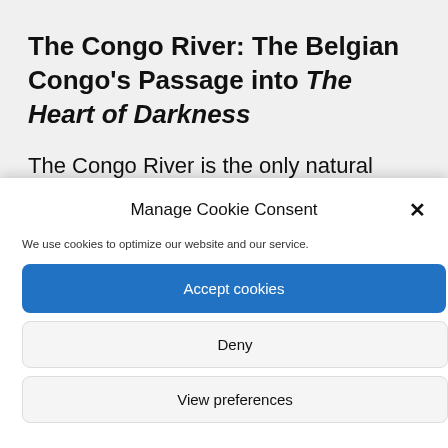The Congo River: The Belgian Congo's Passage into The Heart of Darkness
The Congo River is the only natural gateway into the heart of Africa, and its immense natural resources wealth. It has a length of 4,370 km and
Manage Cookie Consent
We use cookies to optimize our website and our service.
Accept cookies
Deny
View preferences